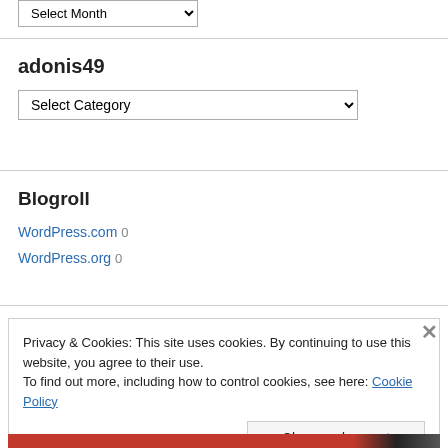[Figure (screenshot): Select Month dropdown widget at top of sidebar]
adonis49
[Figure (screenshot): Select Category dropdown widget]
Blogroll
WordPress.com 0
WordPress.org 0
Privacy & Cookies: This site uses cookies. By continuing to use this website, you agree to their use.
To find out more, including how to control cookies, see here: Cookie Policy
Close and accept